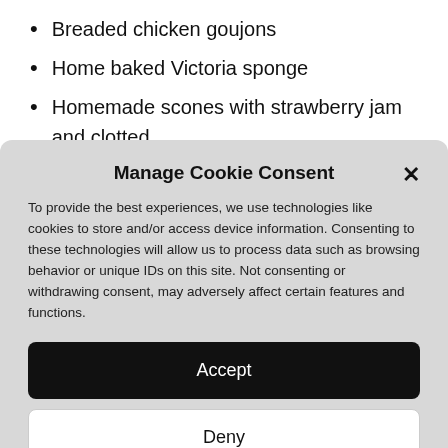Breaded chicken goujons
Home baked Victoria sponge
Homemade scones with strawberry jam and clotted
[Figure (screenshot): Cookie consent modal dialog on a website with Accept, Deny, and View preferences buttons]
Manage Cookie Consent
To provide the best experiences, we use technologies like cookies to store and/or access device information. Consenting to these technologies will allow us to process data such as browsing behavior or unique IDs on this site. Not consenting or withdrawing consent, may adversely affect certain features and functions.
Accept
Deny
View preferences
Cookie Policy   Privacy Policy